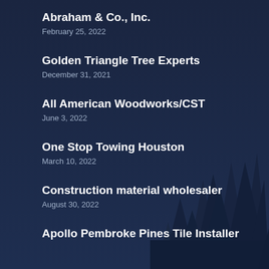Abraham & Co., Inc.
February 25, 2022
Golden Triangle Tree Experts
December 31, 2021
All American Woodworks/CST
June 3, 2022
One Stop Towing Houston
March 10, 2022
Construction material wholesaler
August 30, 2022
Apollo Pembroke Pines Tile Installer